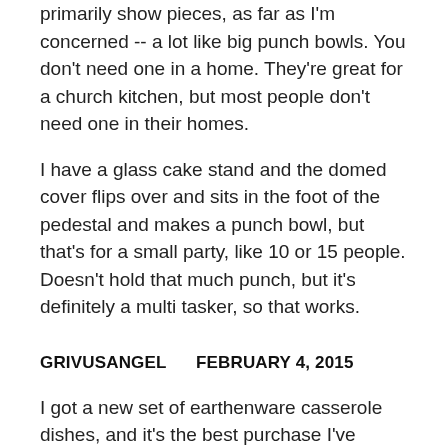primarily show pieces, as far as I'm concerned -- a lot like big punch bowls. You don't need one in a home. They're great for a church kitchen, but most people don't need one in their homes.
I have a glass cake stand and the domed cover flips over and sits in the foot of the pedestal and makes a punch bowl, but that's for a small party, like 10 or 15 people. Doesn't hold that much punch, but it's definitely a multi tasker, so that works.
GRIVUSANGEL      FEBRUARY 4, 2015
I got a new set of earthenware casserole dishes, and it's the best purchase I've made in years. All of my casseroles were getting to where they